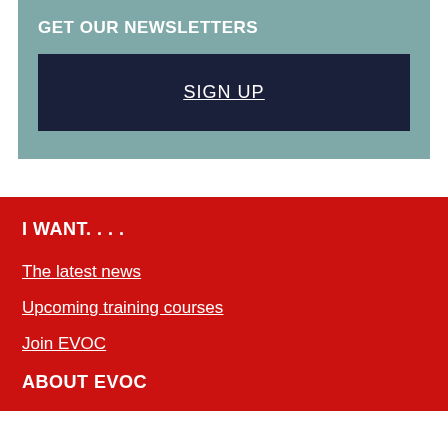GET OUR NEWSLETTERS
SIGN UP
I WANT. . . .
The latest news
Upcoming training courses
Join EVOC
ABOUT EVOC